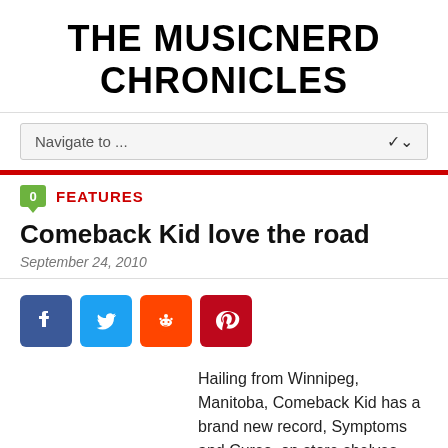THE MUSICNERD CHRONICLES
Navigate to ...
FEATURES
Comeback Kid love the road
September 24, 2010
[Figure (infographic): Social sharing icons: Facebook, Twitter, Reddit, Pinterest]
Hailing from Winnipeg, Manitoba, Comeback Kid has a brand new record, Symptoms and Cures, on store shelves and is headed to Metro